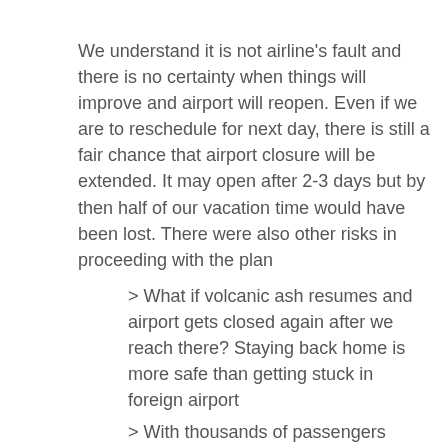We understand it is not airline's fault and there is no certainty when things will improve and airport will reopen. Even if we are to reschedule for next day, there is still a fair chance that airport closure will be extended. It may open after 2-3 days but by then half of our vacation time would have been lost. There were also other risks in proceeding with the plan
> What if volcanic ash resumes and airport gets closed again after we reach there? Staying back home is more safe than getting stuck in foreign airport
> With thousands of passengers stranded, city of Bali must be in big disarray right now- guests extending their hotel stay, city's resources under pressure etc. Even if we make it, not very sure if we will be able to have a decent experience of Bali.